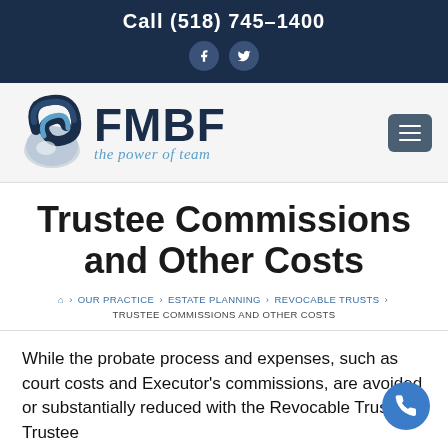Call (518) 745-1400
[Figure (logo): FMBF law firm logo with globe/swirl icon and tagline 'the power of team']
Trustee Commissions and Other Costs
⌂ › OUR PRACTICE › ESTATE PLANNING › REVOCABLE TRUSTS › TRUSTEE COMMISSIONS AND OTHER COSTS
While the probate process and expenses, such as court costs and Executor's commissions, are avoided or substantially reduced with the Revocable Trust, the Trustee